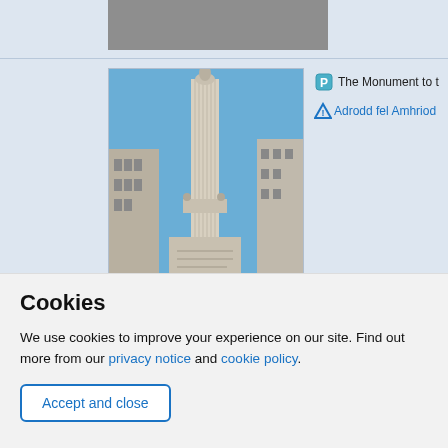[Figure (photo): Partially visible greyscale photo at the top of the page, cropped]
[Figure (photo): Photograph of The Monument to the Great Fire of London — a tall Doric column with ornate top, surrounded by classical buildings, taken from below looking up against a blue sky]
The Monument to t
Adrodd fel Amhriod
Cookies
We use cookies to improve your experience on our site. Find out more from our privacy notice and cookie policy.
Accept and close